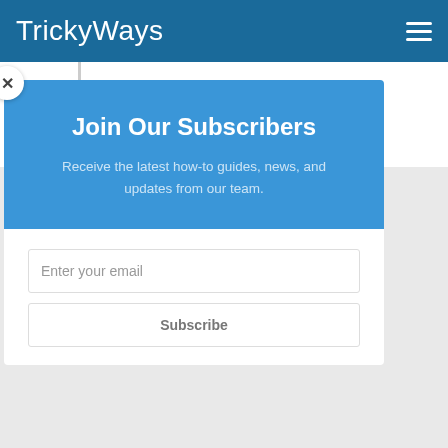TrickyWays
Randy foreman  May 13, 2020, 4:03 am
[Figure (screenshot): Modal popup overlay on a website (TrickyWays) with a blue header section titled 'Join Our Subscribers' with subtitle 'Receive the latest how-to guides, news, and updates from our team.' and a white bottom section with 'Enter your email' input field and 'Subscribe' button. A close (X) button appears in the top-left of the modal.]
Enter your email
Subscribe